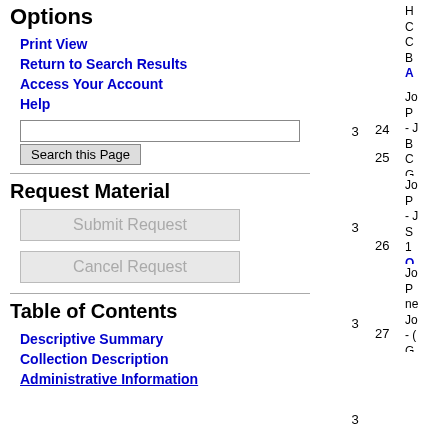Options
Print View
Return to Search Results
Access Your Account
Help
Request Material
Submit Request
Cancel Request
Table of Contents
Descriptive Summary
Collection Description
Administrative Information
| Vol | Box | Item |
| --- | --- | --- |
| 3 | 24 | A... |
| 3 | 25 | A... |
| 3 | 26 | O... |
| 3 | 27 | A... |